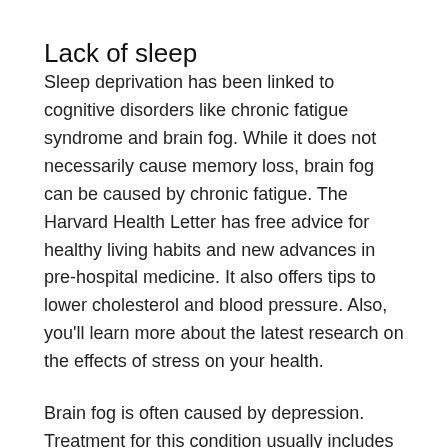Lack of sleep
Sleep deprivation has been linked to cognitive disorders like chronic fatigue syndrome and brain fog. While it does not necessarily cause memory loss, brain fog can be caused by chronic fatigue. The Harvard Health Letter has free advice for healthy living habits and new advances in pre-hospital medicine. It also offers tips to lower cholesterol and blood pressure. Also, you’ll learn more about the latest research on the effects of stress on your health.
Brain fog is often caused by depression. Treatment for this condition usually includes prescribed medication as well as various therapies. Sleeping enough at night is a key part